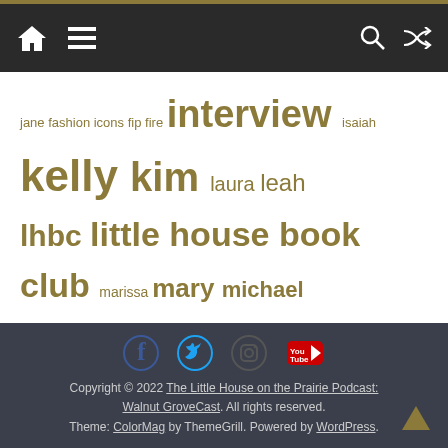Navigation bar with home, menu, search, and shuffle icons
jane fashion icons fip fire interview isaiah kelly kim laura leah lhbc little house book club marissa mary michael landon morphine nelliepalooza podcast review suzann the prairie review wagon talks walnut grovecast
[Figure (infographic): Social media icons: Facebook, Twitter, Instagram, YouTube]
Copyright © 2022 The Little House on the Prairie Podcast: Walnut GroveCast. All rights reserved. Theme: ColorMag by ThemeGrill. Powered by WordPress.